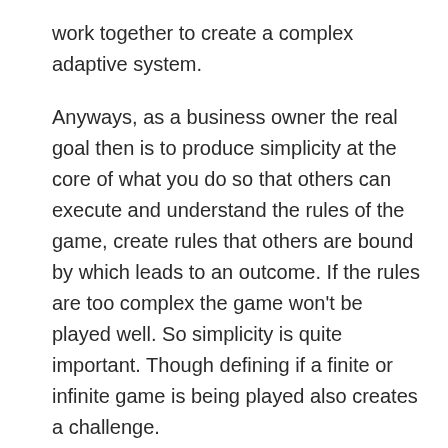work together to create a complex adaptive system.
Anyways, as a business owner the real goal then is to produce simplicity at the core of what you do so that others can execute and understand the rules of the game, create rules that others are bound by which leads to an outcome. If the rules are too complex the game won't be played well. So simplicity is quite important. Though defining if a finite or infinite game is being played also creates a challenge.
Abhi Yerra   November 16, 2021   YerraCo